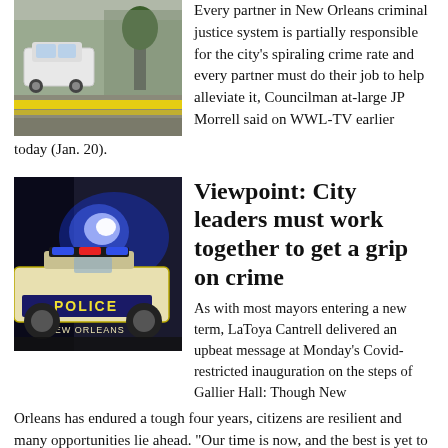[Figure (photo): Crime scene photo showing a white SUV and yellow police tape on a residential street]
Every partner in New Orleans criminal justice system is partially responsible for the city's spiraling crime rate and every partner must do their job to help alleviate it, Councilman at-large JP Morrell said on WWL-TV earlier today (Jan. 20).
[Figure (photo): New Orleans Police car with blue flashing lights at night]
Viewpoint: City leaders must work together to get a grip on crime
As with most mayors entering a new term, LaToya Cantrell delivered an upbeat message at Monday’s Covid-restricted inauguration on the steps of Gallier Hall: Though New Orleans has endured a tough four years, citizens are resilient and many opportunities lie ahead. “Our time is now, and the best is yet to come,” Cantrell proclaimed.
2 thoughts on “Viewpoint: Sheriff Susan